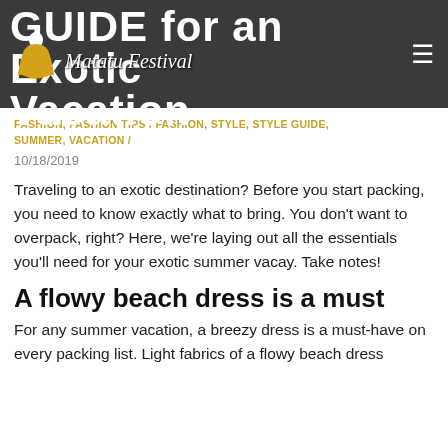Guide for an Exotic Vacation
[Figure (logo): Matatu Festival logo with stylized figure in yellow dress]
FASHION, FASHION TIPS / FASHION, STYLE, STYLE GUIDE, SUMMER, VACATION /
10/18/2019
Traveling to an exotic destination? Before you start packing, you need to know exactly what to bring. You don't want to overpack, right? Here, we're laying out all the essentials you'll need for your exotic summer vacay. Take notes!
A flowy beach dress is a must
For any summer vacation, a breezy dress is a must-have on every packing list. Light fabrics of a flowy beach dress